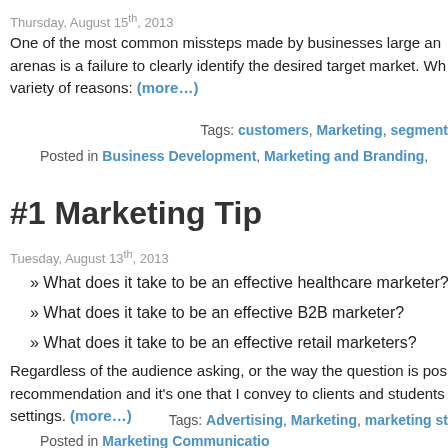Thursday, August 15th, 2013
One of the most common missteps made by businesses large and small in their marketing arenas is a failure to clearly identify the desired target market. Wh... variety of reasons: (more…)
Tags: customers, Marketing, segment
Posted in Business Development, Marketing and Branding,
#1 Marketing Tip
Tuesday, August 13th, 2013
» What does it take to be an effective healthcare marketer?
» What does it take to be an effective B2B marketer?
» What does it take to be an effective retail marketers?
Regardless of the audience asking, or the way the question is posed, I have the same recommendation and it's one that I convey to clients and students in academic settings. (more…)
Tags: Advertising, Marketing, marketing st
Posted in Marketing Communicatio